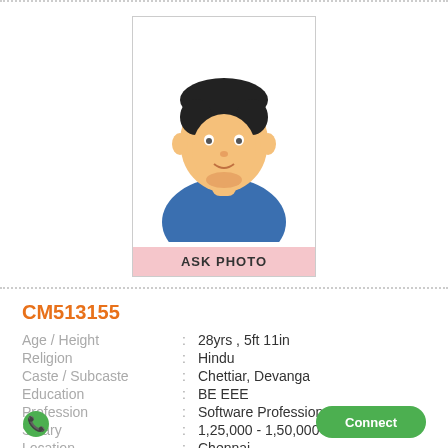[Figure (illustration): Generic male avatar/placeholder photo with 'ASK PHOTO' label at bottom]
CM513155
Age / Height : 28yrs , 5ft 11in
Religion : Hindu
Caste / Subcaste : Chettiar, Devanga
Education : BE EEE
Profession : Software Professional
Salary : 1,25,000 - 1,50,000
Location : Chennai
Star / Rasi : Sathayam ,Kumbam (Aquarius);